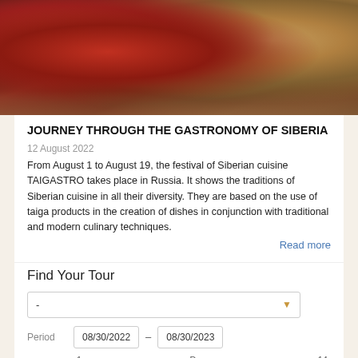[Figure (photo): Close-up photo of a roasted/grilled meat dish (beef) with rosemary herbs and garlic on a dark platter]
JOURNEY THROUGH THE GASTRONOMY OF SIBERIA
12 August 2022
From August 1 to August 19, the festival of Siberian cuisine TAIGASTRO takes place in Russia. It shows the traditions of Siberian cuisine in all their diversity. They are based on the use of taiga products in the creation of dishes in conjunction with traditional and modern culinary techniques.
Read more
Find Your Tour
- (dropdown)
Period  08/30/2022 – 08/30/2023
Duration  1  Days  14